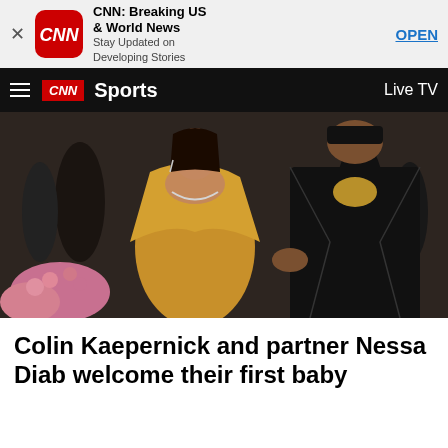[Figure (screenshot): CNN app advertisement banner with CNN logo, title 'CNN: Breaking US & World News', subtitle 'Stay Updated on Developing Stories', and OPEN button]
CNN Sports  Live TV
[Figure (photo): Colin Kaepernick and Nessa Diab at what appears to be the Met Gala. Nessa is wearing a gold satin dress with a silver necklace, Colin is wearing a black leather jacket. Crowd and photographers visible in background.]
Colin Kaepernick and partner Nessa Diab welcome their first baby